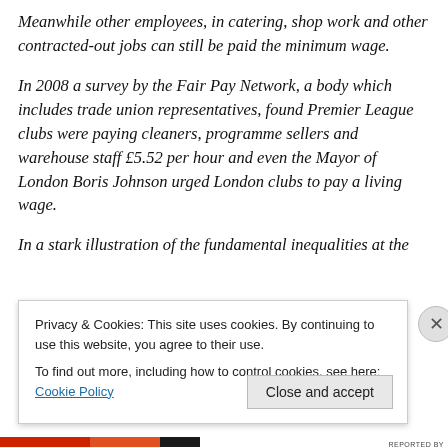Meanwhile other employees, in catering, shop work and other contracted-out jobs can still be paid the minimum wage.
In 2008 a survey by the Fair Pay Network, a body which includes trade union representatives, found Premier League clubs were paying cleaners, programme sellers and warehouse staff £5.52 per hour and even the Mayor of London Boris Johnson urged London clubs to pay a living wage.
In a stark illustration of the fundamental inequalities at the
Privacy & Cookies: This site uses cookies. By continuing to use this website, you agree to their use.
To find out more, including how to control cookies, see here: Cookie Policy